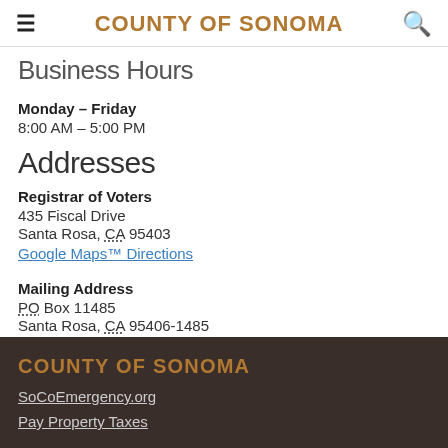COUNTY OF SONOMA
Business Hours
Monday – Friday
8:00 AM – 5:00 PM
Addresses
Registrar of Voters
435 Fiscal Drive
Santa Rosa, CA 95403
Google Maps™ Directions
Mailing Address
PO Box 11485
Santa Rosa, CA 95406-1485
COUNTY OF SONOMA
SoCoEmergency.org
Pay Property Taxes